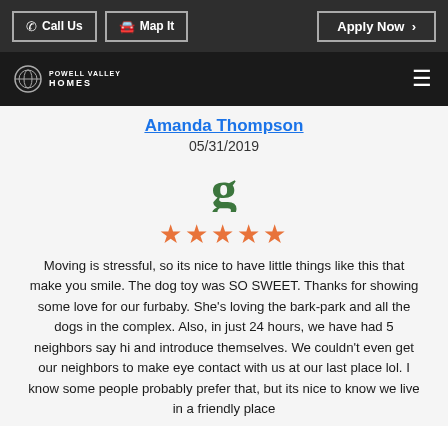Call Us  Map It  Apply Now
Powell Valley Homes logo  hamburger menu
Amanda Thompson
05/31/2019
[Figure (logo): Google G logo in green]
[Figure (other): 5 orange star rating]
Moving is stressful, so its nice to have little things like this that make you smile. The dog toy was SO SWEET. Thanks for showing some love for our furbaby. She's loving the bark-park and all the dogs in the complex. Also, in just 24 hours, we have had 5 neighbors say hi and introduce themselves. We couldn't even get our neighbors to make eye contact with us at our last place lol. I know some people probably prefer that, but its nice to know we live in a friendly place